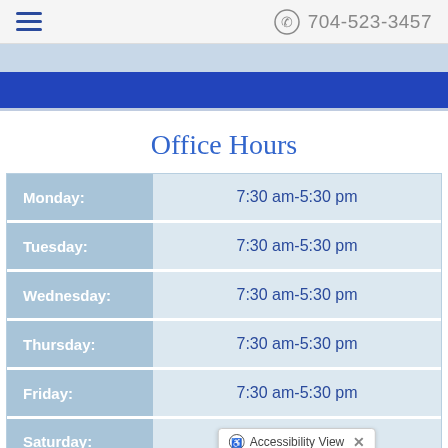704-523-3457
Office Hours
| Day | Hours |
| --- | --- |
| Monday: | 7:30 am-5:30 pm |
| Tuesday: | 7:30 am-5:30 pm |
| Wednesday: | 7:30 am-5:30 pm |
| Thursday: | 7:30 am-5:30 pm |
| Friday: | 7:30 am-5:30 pm |
| Saturday: |  |